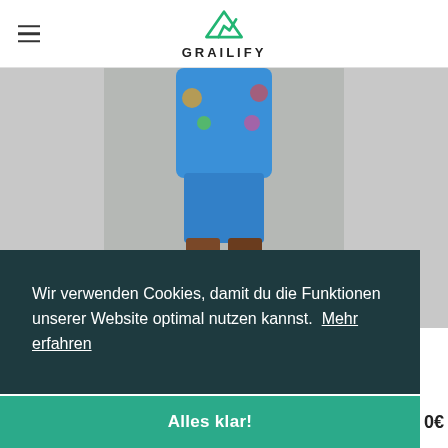GRAILIFY
[Figure (photo): Person wearing a blue floral hoodie and blue shorts with white socks and sneakers, standing among small flower arrangements on a concrete floor.]
Wir verwenden Cookies, damit du die Funktionen unserer Website optimal nutzen kannst.  Mehr erfahren
Alles klar!
0€